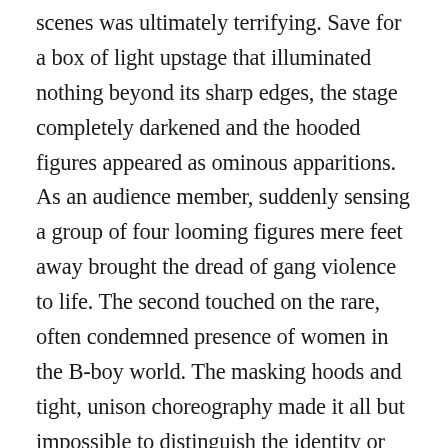scenes was ultimately terrifying. Save for a box of light upstage that illuminated nothing beyond its sharp edges, the stage completely darkened and the hooded figures appeared as ominous apparitions. As an audience member, suddenly sensing a group of four looming figures mere feet away brought the dread of gang violence to life. The second touched on the rare, often condemned presence of women in the B-boy world. The masking hoods and tight, unison choreography made it all but impossible to distinguish the identity or gender of the mysterious sixth dancer onstage. This, combined with the powerful female vocals of Gifted Gab, made for one of the evening's most powerful statements on the distinction between the masculine and the